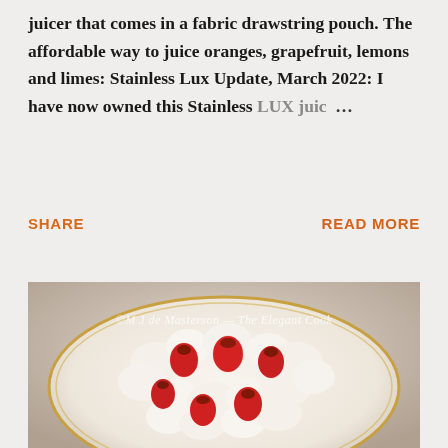juicer that comes in a fabric drawstring pouch. The affordable way to juice oranges, grapefruit, lemons and limes: Stainless Lux Update, March 2022: I have now owned this Stainless LUX juic …
SHARE
READ MORE
[Figure (photo): A food photo showing strawberries and whipped cream on an elegant oval plate with a gold rim. A watermark reads: © M J de Masterson — The Elegant Cook]